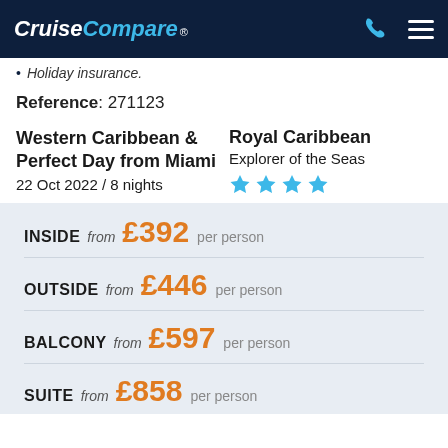CruiseCompare®
Holiday insurance.
Reference: 271123
Western Caribbean & Perfect Day from Miami
22 Oct 2022 / 8 nights
Royal Caribbean
Explorer of the Seas
★★★★
INSIDE from £392 per person
OUTSIDE from £446 per person
BALCONY from £597 per person
SUITE from £858 per person